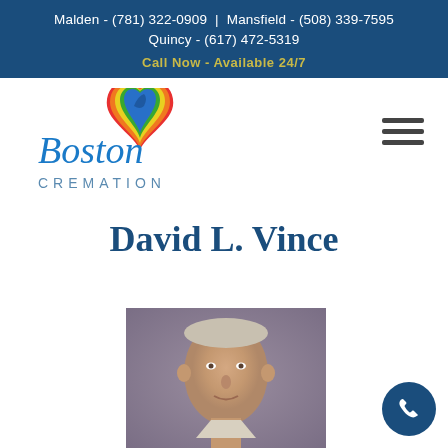Malden - (781) 322-0909 | Mansfield - (508) 339-7595
Quincy - (617) 472-5319
Call Now - Available 24/7
[Figure (logo): Boston Cremation logo with cursive 'Boston' text and colorful heart icon, and 'CREMATION' text below]
David L. Vince
[Figure (photo): Portrait photo of elderly man with gray hair against a muted purple/gray background]